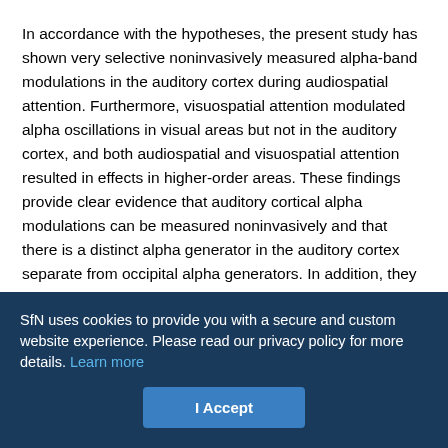In accordance with the hypotheses, the present study has shown very selective noninvasively measured alpha-band modulations in the auditory cortex during audiospatial attention. Furthermore, visuospatial attention modulated alpha oscillations in visual areas but not in the auditory cortex, and both audiospatial and visuospatial attention resulted in effects in higher-order areas. These findings provide clear evidence that auditory cortical alpha modulations can be measured noninvasively and that there is a distinct alpha generator in the auditory cortex separate from occipital alpha generators. In addition, they support the notion that alpha-band oscillations possess general functional properties that are also relevant in auditory cognition.
SfN uses cookies to provide you with a secure and custom website experience. Please read our privacy policy for more details. Learn more
I Accept